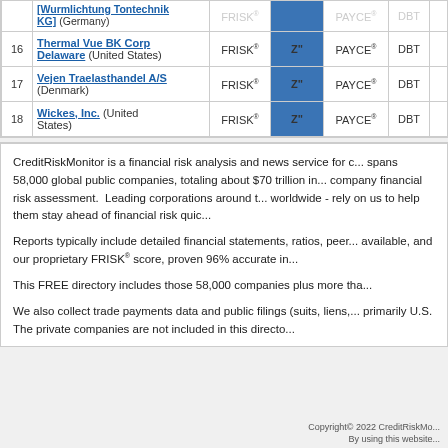| # | Company | FRISK® | Z" | PAYCE® | DBT | Moody |
| --- | --- | --- | --- | --- | --- | --- |
|  | [Wurmlichtung Tontechnik KG] (Germany) | FRISK® | Z" | PAYCE® | DBT | Moody |
| 16 | Thermal Vue BK Corp Delaware (United States) | FRISK® | Z" | PAYCE® | DBT | Moody |
| 17 | Vejen Traelasthandel A/S (Denmark) | FRISK® | Z" | PAYCE® | DBT | Moody |
| 18 | Wickes, Inc. (United States) | FRISK® | Z" | PAYCE® | DBT | Moody |
CreditRiskMonitor is a financial risk analysis and news service for c... spans 58,000 global public companies, totaling about $70 trillion in... company financial risk assessment.  Leading corporations around t... worldwide - rely on us to help them stay ahead of financial risk quic...
Reports typically include detailed financial statements, ratios, peer... available, and our proprietary FRISK® score, proven 96% accurate in...
This FREE directory includes those 58,000 companies plus more tha...
We also collect trade payments data and public filings (suits, liens,... primarily U.S. The private companies are not included in this directo...
Copyright© 2022 CreditRiskMo... By using this website...